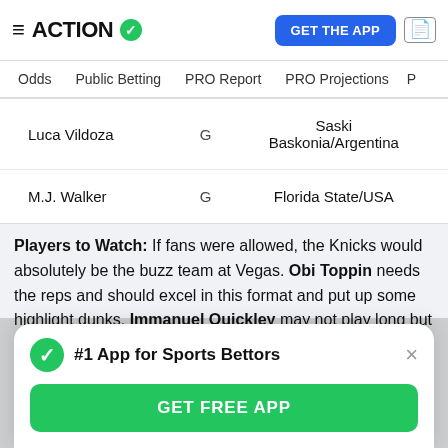ACTION ✓  |  GET THE APP
Odds  Public Betting  PRO Report  PRO Projections  P
| Player | Pos | School/Country |
| --- | --- | --- |
| Luca Vildoza | G | Saski Baskonia/Argentina |
| M.J. Walker | G | Florida State/USA |
Players to Watch: If fans were allowed, the Knicks would absolutely be the buzz team at Vegas. Obi Toppin needs the reps and should excel in this format and put up some highlight dunks. Immanuel Quickley may not play long but should impress while he's out there. Rokas Jokubaitis
#1 App for Sports Bettors
GET FREE APP